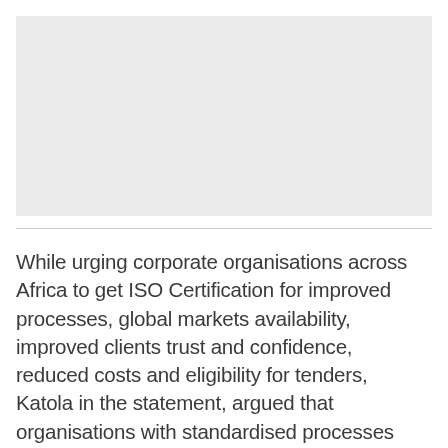[Figure (photo): Image placeholder — light grey rectangular photo area at top of page]
While urging corporate organisations across Africa to get ISO Certification for improved processes, global markets availability, improved clients trust and confidence, reduced costs and eligibility for tenders, Katola in the statement, argued that organisations with standardised processes and certifications tend to fare better than